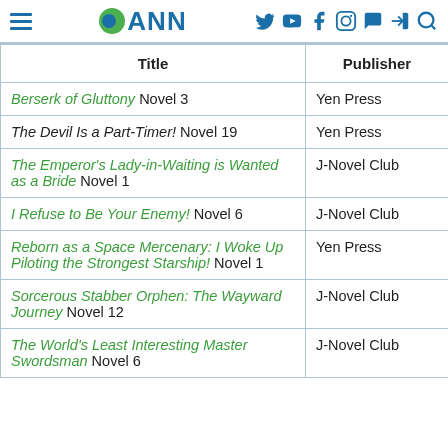ANN (Anime News Network) website header with hamburger menu, ANN logo, and social media icons (Twitter, YouTube, Facebook, Instagram, chat, login, search)
| Title | Publisher |
| --- | --- |
| Berserk of Gluttony Novel 3 | Yen Press |
| The Devil Is a Part-Timer! Novel 19 | Yen Press |
| The Emperor's Lady-in-Waiting is Wanted as a Bride Novel 1 | J-Novel Club |
| I Refuse to Be Your Enemy! Novel 6 | J-Novel Club |
| Reborn as a Space Mercenary: I Woke Up Piloting the Strongest Starship! Novel 1 | Yen Press |
| Sorcerous Stabber Orphen: The Wayward Journey Novel 12 | J-Novel Club |
| The World's Least Interesting Master Swordsman Novel 6 | J-Novel Club |